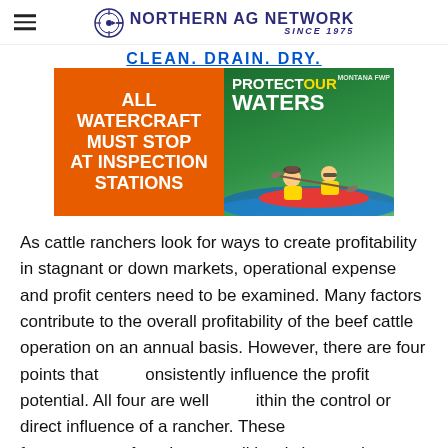Northern Ag Network Since 1975
[Figure (infographic): Montana FWP watercraft inspection ad: orange left panel text 'ALL WATERCRAFT MUST STOP AT INSPECTION STATIONS', right panel green background with 'PROTECT OUR WATERS' and photo of people kayaking. Top text: 'CLEAN. DRAIN. DRY.']
As cattle ranchers look for ways to create profitability in stagnant or down markets, operational expense and profit centers need to be examined. Many factors contribute to the overall profitability of the beef cattle operation on an annual basis. However, there are four points that consistently influence the profit potential. All four are well within the control or direct influence of a rancher. These four areas are found across all herd sizes and locations, so